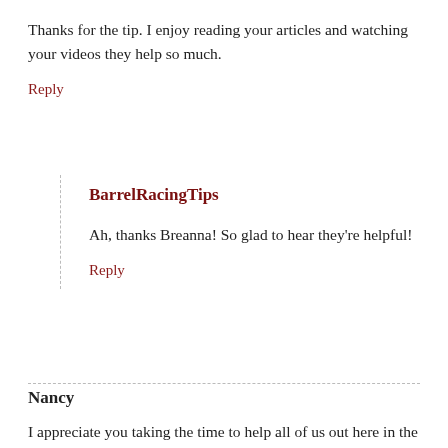Thanks for the tip. I enjoy reading your articles and watching your videos they help so much.
Reply
BarrelRacingTips
Ah, thanks Breanna! So glad to hear they're helpful!
Reply
Nancy
I appreciate you taking the time to help all of us out here in the barrel racing world. What a great web-site. Thank you!